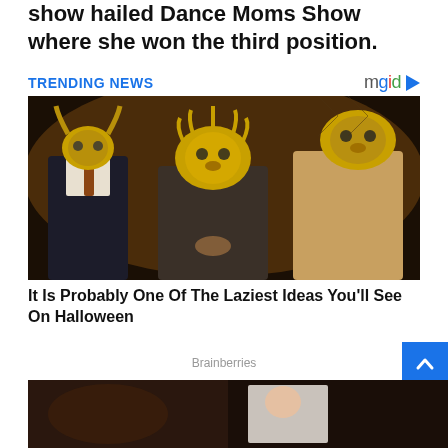show hailed Dance Moms Show where she won the third position.
TRENDING NEWS
[Figure (photo): Three people in suits wearing ornate golden animal masks (lion, stag, tiger) at what appears to be a formal event or party.]
It Is Probably One Of The Laziest Ideas You'll See On Halloween
Brainberries
[Figure (photo): Bottom partial image, appears to be an indoor scene, partially visible.]